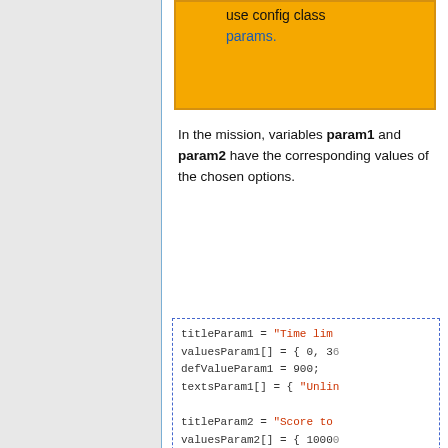use config class params.
In the mission, variables param1 and param2 have the corresponding values of the chosen options.
titleParam1 = "Time lim...
valuesParam1[] = { 0, 36...
defValueParam1 = 900;
textsParam1[] = { "Unlin...

titleParam2 = "Score to...
valuesParam2[] = { 10000...
defValueParam2 = 5;
textsParam2[] = { "Unlin...
Example:
hint format ["param1 =